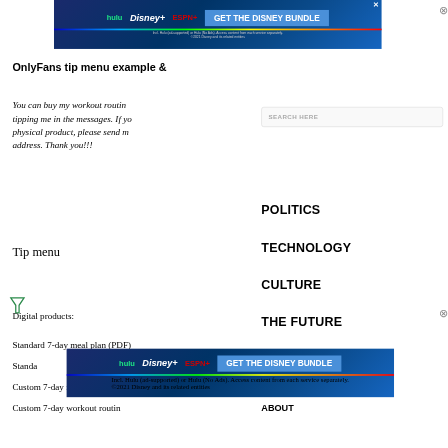[Figure (screenshot): Disney Bundle advertisement banner at top with Hulu, Disney+, ESPN+ logos and GET THE DISNEY BUNDLE button]
OnlyFans tip menu example &
You can buy my workout routines and meal plans by tipping me in the messages. If you would like to order a physical product, please send me your shipping address. Thank you!!!
Tip menu
Digital products:
Standard 7-day meal plan (PDF)
Standard 7-day workout routine
Custom 7-day meal plan (PDF)
Custom 7-day workout routine
POLITICS
TECHNOLOGY
CULTURE
THE FUTURE
ABOUT
[Figure (screenshot): Disney Bundle advertisement banner at bottom with Hulu, Disney+, ESPN+ logos and GET THE DISNEY BUNDLE button]